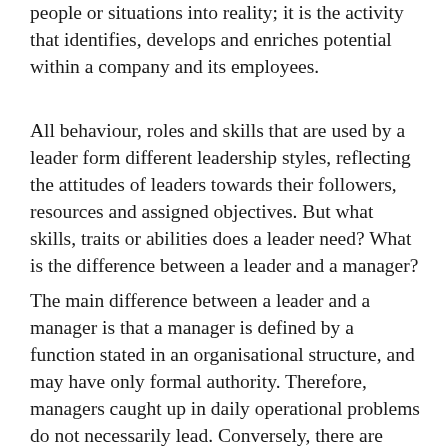people or situations into reality; it is the activity that identifies, develops and enriches potential within a company and its employees.
All behaviour, roles and skills that are used by a leader form different leadership styles, reflecting the attitudes of leaders towards their followers, resources and assigned objectives. But what skills, traits or abilities does a leader need? What is the difference between a leader and a manager?
The main difference between a leader and a manager is that a manager is defined by a function stated in an organisational structure, and may have only formal authority. Therefore, managers caught up in daily operational problems do not necessarily lead. Conversely, there are many informal leaders within organisations who do not have any managerial